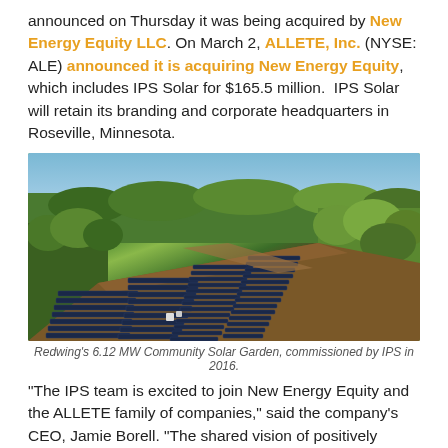announced on Thursday it was being acquired by New Energy Equity LLC. On March 2, ALLETE, Inc. (NYSE: ALE) announced it is acquiring New Energy Equity, which includes IPS Solar for $165.5 million. IPS Solar will retain its branding and corporate headquarters in Roseville, Minnesota.
[Figure (photo): Aerial photograph of Redwing's 6.12 MW Community Solar Garden, showing large solar panel arrays surrounded by green forest and brown earth, commissioned by IPS in 2016.]
Redwing's 6.12 MW Community Solar Garden, commissioned by IPS in 2016.
“The IPS team is excited to join New Energy Equity and the ALLETE family of companies,” said the company’s CEO, Jamie Borell. “The shared vision of positively impacting the world with solar energy will ensure that our combined